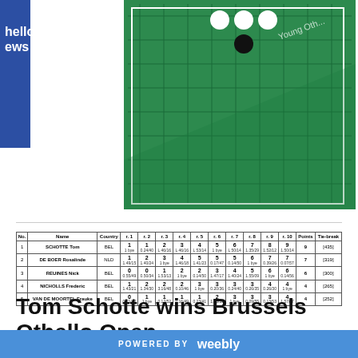[Figure (photo): An Othello/Reversi board game in green with black and white pieces, photographed at an angle. Partial text overlay reads 'hello' and 'ews' on a blue sidebar on the left.]
| No. | Name | Country | r. 1 | r. 2 | r. 3 | r. 4 | r. 5 | r. 6 | r. 7 | r. 8 | r. 9 | r. 10 | Points | Tie-break |
| --- | --- | --- | --- | --- | --- | --- | --- | --- | --- | --- | --- | --- | --- | --- |
| 1 | SCHOTTE Tom | BEL | 1 | 1 | 2 | 3 | 4 | 5 | 6 | 7 | 8 | 9 | 9 | [435] |
| 2 | DE BOER Rosalinde | NLD | 1 | 2 | 3 | 4 | 5 | 5 | 5 | 6 | 7 | 7 | 7 | [319] |
| 3 | REUINES Nick | BEL | 0 | 0 | 1 | 2 | 2 | 3 | 4 | 5 | 6 | 6 | 6 | [300] |
| 4 | NICHOLLS Frederic | BEL | 1 | 2 | 2 | 2 | 3 | 3 | 3 | 3 | 4 | 4 | 4 | [265] |
| 5 | VAN DE MOORTEL Frauke | BEL | 0 | 1 | 1 | 1 | 1 | 2 | 3 | 3 | 3 | 4 | 4 | [252] |
Tom Schotte wins Brussels Othello Open
POWERED BY weebly